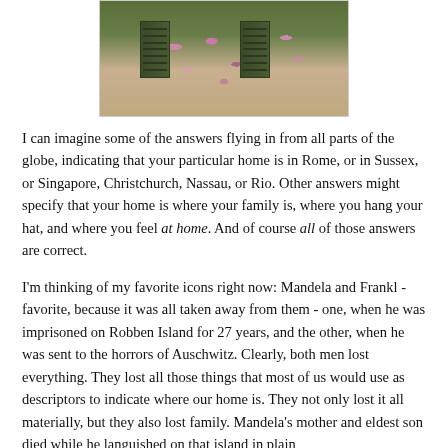[Figure (photo): Photograph of a building wall with green window shutters covered in pink flowering vines/bougainvillea]
I can imagine some of the answers flying in from all parts of the globe, indicating that your particular home is in Rome, or in Sussex, or Singapore, Christchurch, Nassau, or Rio. Other answers might specify that your home is where your family is, where you hang your hat, and where you feel at home. And of course all of those answers are correct.
I'm thinking of my favorite icons right now: Mandela and Frankl - favorite, because it was all taken away from them - one, when he was imprisoned on Robben Island for 27 years, and the other, when he was sent to the horrors of Auschwitz. Clearly, both men lost everything. They lost all those things that most of us would use as descriptors to indicate where our home is. They not only lost it all materially, but they also lost family. Mandela's mother and eldest son died while he languished on that island in plain